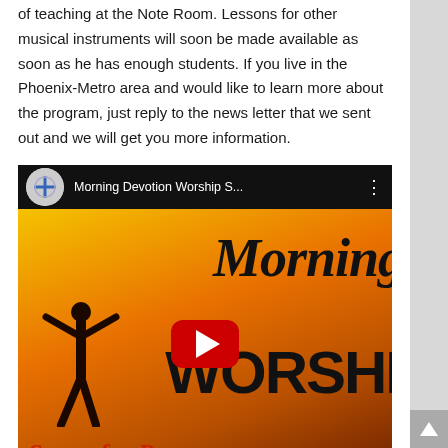of teaching at the Note Room. Lessons for other musical instruments will soon be made available as soon as he has enough students. If you live in the Phoenix-Metro area and would like to learn more about the program, just reply to the news letter that we sent out and we will get you more information.
[Figure (screenshot): YouTube video embed showing 'Morning Devotion Worship S...' with a thumbnail featuring the words 'Morning', 'WORSHIP', 'Songs for Pray' on a yellow/orange gradient background with a human silhouette and a YouTube play button]